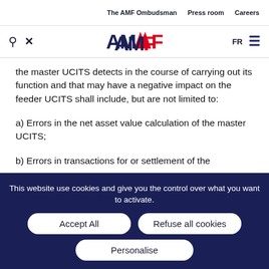The AMF Ombudsman  Press room  Careers
AMF  FR  ☰
the master UCITS detects in the course of carrying out its function and that may have a negative impact on the feeder UCITS shall include, but are not limited to:
a) Errors in the net asset value calculation of the master UCITS;
b) Errors in transactions for or settlement of the
This website use cookies and give you the control over what you want to activate.
Accept All  Refuse all cookies  Personalise